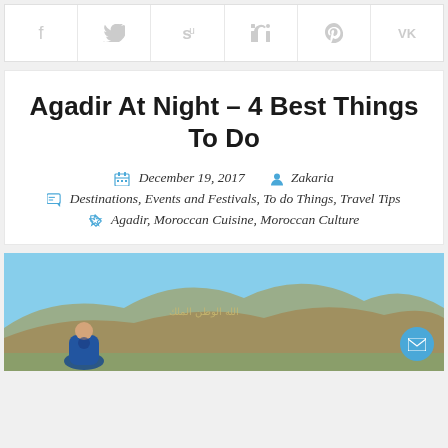[Figure (other): Social sharing bar with icons for Facebook, Twitter, StumbleUpon, LinkedIn, Pinterest, and VK]
Agadir At Night – 4 Best Things To Do
December 19, 2017   Zakaria
Destinations, Events and Festivals, To do Things, Travel Tips
Agadir, Moroccan Cuisine, Moroccan Culture
[Figure (photo): Photo of Agadir hill (oufella) with Arabic script on it and a person in traditional Moroccan blue dress in foreground]